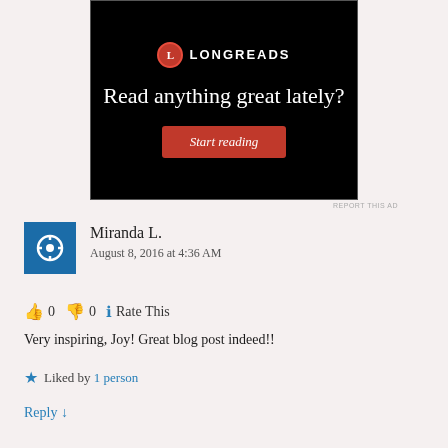[Figure (screenshot): Longreads advertisement with black background. Shows Longreads logo (red circle with L), headline 'Read anything great lately?' and red 'Start reading' button.]
REPORT THIS AD
Miranda L.
August 8, 2016 at 4:36 AM
👍 0 👎 0 ℹ Rate This
Very inspiring, Joy! Great blog post indeed!!
Liked by 1 person
Reply ↓